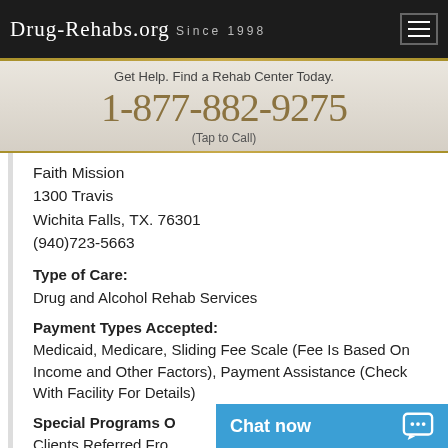Drug-Rehabs.org Since 1998
Get Help. Find a Rehab Center Today.
1-877-882-9275
(Tap to Call)
Faith Mission
1300 Travis
Wichita Falls, TX. 76301
(940)723-5663
Type of Care:
Drug and Alcohol Rehab Services
Payment Types Accepted:
Medicaid, Medicare, Sliding Fee Scale (Fee Is Based On Income and Other Factors), Payment Assistance (Check With Facility For Details)
Special Programs O...
Clients Referred Fro...
Chat now